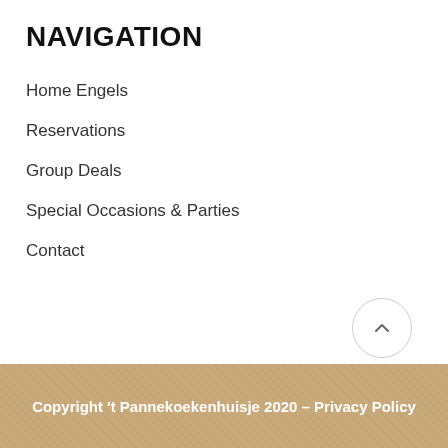NAVIGATION
Home Engels
Reservations
Group Deals
Special Occasions & Parties
Contact
Copyright 't Pannekoekenhuisje 2020 – Privacy Policy